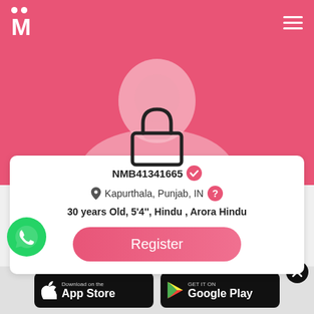[Figure (screenshot): Matrimonial website header with pink background, M logo with two dots on top, and hamburger menu icon on right]
[Figure (illustration): Blurred/silhouetted female profile photo with lock icon overlay indicating private/locked profile]
NMB41341665 ✓
Kapurthala, Punjab, IN
30 years Old, 5'4'', Hindu , Arora Hindu
[Figure (illustration): Register button - pink rounded button]
[Figure (logo): WhatsApp green chat bubble icon]
[Figure (logo): Download on the App Store button - black rounded rectangle]
[Figure (logo): GET IT ON Google Play button - black rounded rectangle]
[Figure (illustration): Black circle X close button]